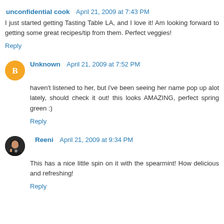unconfidential cook  April 21, 2009 at 7:43 PM
I just started getting Tasting Table LA, and I love it! Am looking forward to getting some great recipes/tip from them. Perfect veggies!
Reply
Unknown  April 21, 2009 at 7:52 PM
haven't listened to her, but i've been seeing her name pop up alot lately, should check it out! this looks AMAZING, perfect spring green :)
Reply
Reeni  April 21, 2009 at 9:34 PM
This has a nice little spin on it with the spearmint! How delicious and refreshing!
Reply